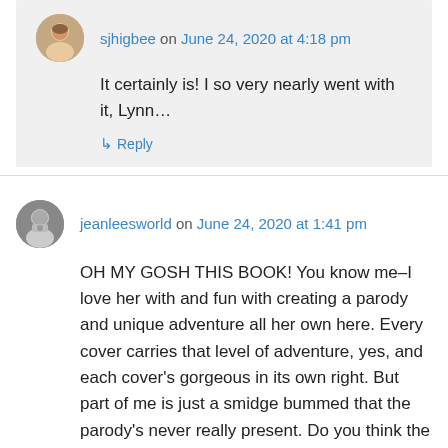sjhigbee on June 24, 2020 at 4:18 pm
It certainly is! I so very nearly went with it, Lynn…
↳ Reply
jeanleesworld on June 24, 2020 at 1:41 pm
OH MY GOSH THIS BOOK! You know me–I love her with and fun with creating a parody and unique adventure all her own here. Every cover carries that level of adventure, yes, and each cover's gorgeous in its own right. But part of me is just a smidge bummed that the parody's never really present. Do you think the parody should be more visible?